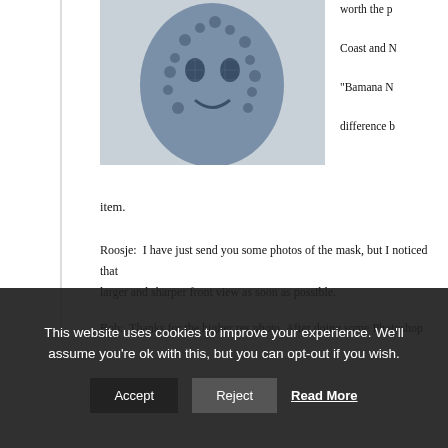[Figure (photo): A blue decorative African mask with dotted texture and sculptural surface detail, photographed against a light background.]
worth the p
Coast and N
"Bamana N
difference b
item.
Roosje:  I have just send you some photos of the mask, but I noticed that larger and sharper front view as soon as possible.
Bob:  Thanks for the higher res photo. After doing some Photoshop work handsome mask, so I want to share it with our viewers. Some African ma collecting.
This website uses cookies to improve your experience. We'll assume you're ok with this, but you can opt-out if you wish.